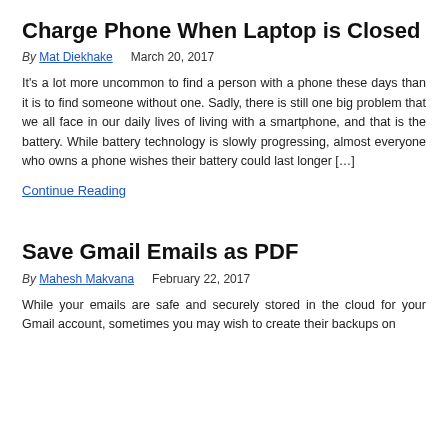Charge Phone When Laptop is Closed
By Mat Diekhake    March 20, 2017
It's a lot more uncommon to find a person with a phone these days than it is to find someone without one. Sadly, there is still one big problem that we all face in our daily lives of living with a smartphone, and that is the battery. While battery technology is slowly progressing, almost everyone who owns a phone wishes their battery could last longer […]
Continue Reading
Save Gmail Emails as PDF
By Mahesh Makvana    February 22, 2017
While your emails are safe and securely stored in the cloud for your Gmail account, sometimes you may wish to create their backups on